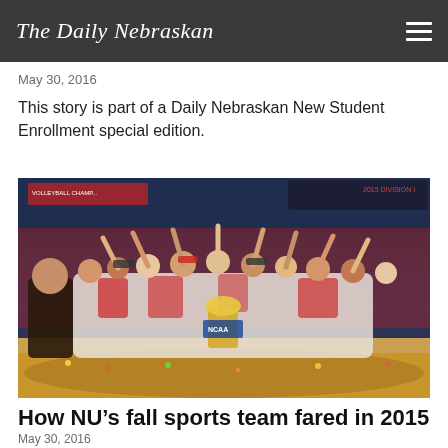The Daily Nebraskan
May 30, 2016
This story is part of a Daily Nebraskan New Student Enrollment special edition.
[Figure (photo): Nebraska volleyball team celebrating their 2015 national championship on court, players and coaches raising hands holding trophy in front of packed arena crowd]
How NU’s fall sports team fared in 2015
May 30, 2016